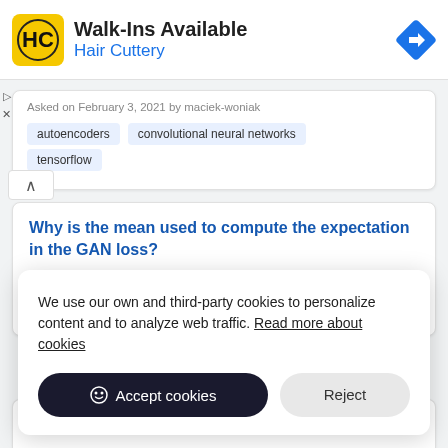[Figure (screenshot): Hair Cuttery advertisement banner with yellow HC logo, title 'Walk-Ins Available', subtitle 'Hair Cuttery', and blue navigation diamond icon]
Asked on February 3, 2021 by maciek-woniak
autoencoders
convolutional neural networks
tensorflow
Why is the mean used to compute the expectation in the GAN loss?
We use our own and third-party cookies to personalize content and to analyze web traffic. Read more about cookies
Accept cookies
Reject
Computation of initial adjoint for NODE